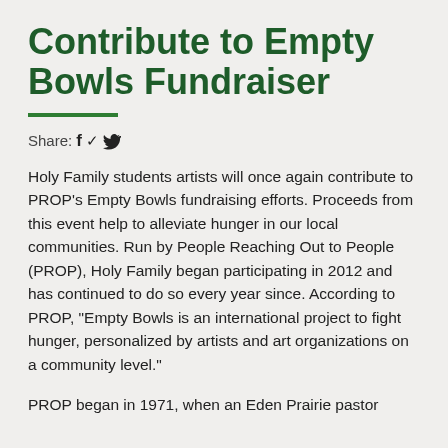Contribute to Empty Bowls Fundraiser
Share: f 🐦
Holy Family students artists will once again contribute to PROP’s Empty Bowls fundraising efforts. Proceeds from this event help to alleviate hunger in our local communities. Run by People Reaching Out to People (PROP), Holy Family began participating in 2012 and has continued to do so every year since. According to PROP, “Empty Bowls is an international project to fight hunger, personalized by artists and art organizations on a community level.”
PROP began in 1971, when an Eden Prairie pastor